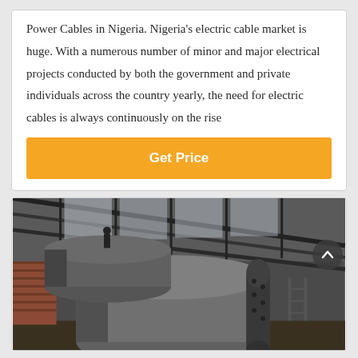Power Cables in Nigeria. Nigeria's electric cable market is huge. With a numerous number of minor and major electrical projects conducted by both the government and private individuals across the country yearly, the need for electric cables is always continuously on the rise
Get Price
[Figure (photo): Factory interior showing large industrial cylindrical cable manufacturing equipment or pressure vessels inside a metal-roofed industrial building.]